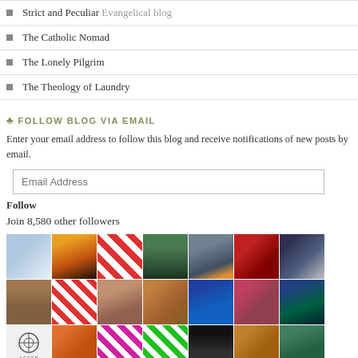Strict and Peculiar Evangelical blog
The Catholic Nomad
The Lonely Pilgrim
The Theology of Laundry
FOLLOW BLOG VIA EMAIL
Enter your email address to follow this blog and receive notifications of new posts by email.
Follow
Join 8,580 other followers
[Figure (photo): Grid of avatar/profile photos for blog followers, arranged in 3 rows of 7 images each]